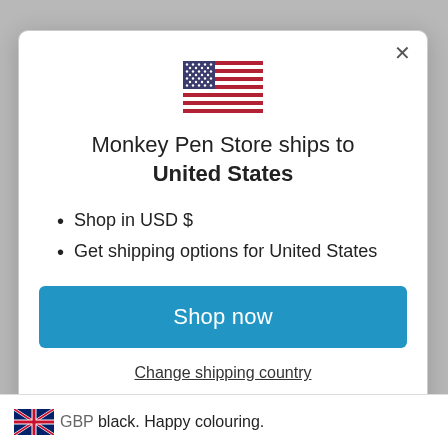[Figure (illustration): US flag emoji/icon centered at top of modal dialog]
Monkey Pen Store ships to United States
Shop in USD $
Get shipping options for United States
Shop now
Change shipping country
GBP black. Happy colouring.